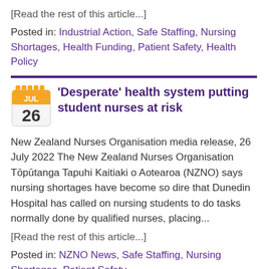[Read the rest of this article...]
Posted in: Industrial Action, Safe Staffing, Nursing Shortages, Health Funding, Patient Safety, Health Policy
'Desperate' health system putting student nurses at risk
New Zealand Nurses Organisation media release, 26 July 2022 The New Zealand Nurses Organisation Tōpūtanga Tapuhi Kaitiaki o Aotearoa (NZNO) says nursing shortages have become so dire that Dunedin Hospital has called on nursing students to do tasks normally done by qualified nurses, placing...
[Read the rest of this article...]
Posted in: NZNO News, Safe Staffing, Nursing Shortages, Patient Safety